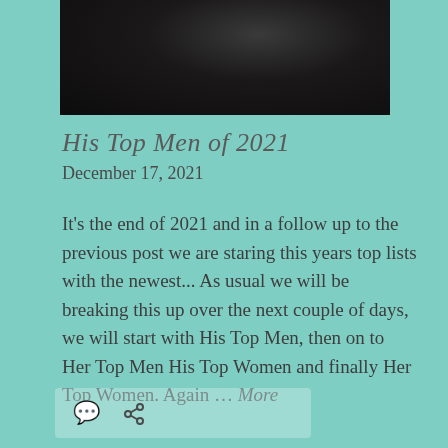[Figure (photo): Partial photo showing dark background, bottom portion of a person in dark clothing]
His Top Men of 2021
December 17, 2021
It's the end of 2021 and in a follow up to the previous post we are staring this years top lists with the newest... As usual we will be breaking this up over the next couple of days, we will start with His Top Men, then on to Her Top Men His Top Women and finally Her Top Women. Again ... More